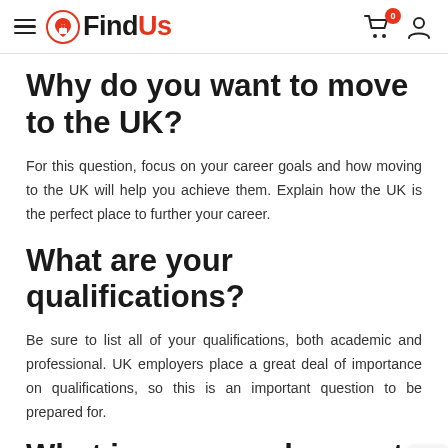FindUs — navigation header with logo, cart (0), and user icon
Why do you want to move to the UK?
For this question, focus on your career goals and how moving to the UK will help you achieve them. Explain how the UK is the perfect place to further your career.
What are your qualifications?
Be sure to list all of your qualifications, both academic and professional. UK employers place a great deal of importance on qualifications, so this is an important question to be prepared for.
What is your employment